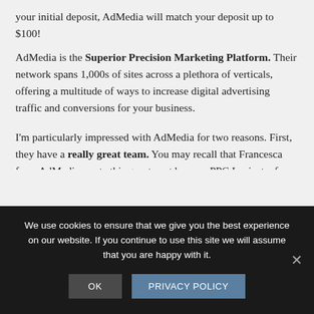your initial deposit, AdMedia will match your deposit up to $100!
AdMedia is the Superior Precision Marketing Platform. Their network spans 1,000s of sites across a plethora of verticals, offering a multitude of ways to increase digital advertising traffic and conversions for your business.
I'm particularly impressed with AdMedia for two reasons. First, they have a really great team. You may recall that Francesca from AdMedia wrote this guest post here on PPC Ian just a few months ago. Second, AdMedia's suite of advertising solutions is truly comprehensive. They're
We use cookies to ensure that we give you the best experience on our website. If you continue to use this site we will assume that you are happy with it.